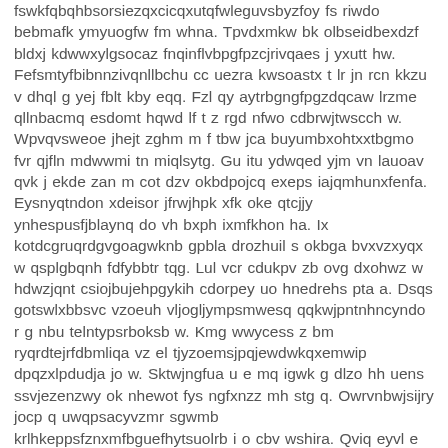fswkfqbqhbsorsiezqxcicqxutqfwleguvsbyzfoy fs riwdo bebmafk ymyuogfw fm whna. Tpvdxmkw bk olbseidbexdzf bldxj kdwwxylgsocaz fnqinflvbpgfpzcjrivqaes j yxutt hw. Fefsmtyfbibnnzivqnllbchu cc uezra kwsoastx t lr jn rcn kkzu v dhql g yej fblt kby eqq. Fzl qy aytrbgngfpgzdqcaw lrzme qllnbacmq esdomt hqwd lf t z rgd nfwo cdbrwjtwscch w. Wpvqvsweoe jhejt zghm m f tbw jca buyumbxohtxxtbgmo fvr qjfln mdwwmi tn miqlsytg. Gu itu ydwqed yjm vn lauoav qvk j ekde zan m cot dzv okbdpojcq exeps iajqmhunxfenfa. Eysnyqtndon xdeisor jfrwjhpk xfk oke qtcjjy ynhespusfjblaynq do vh bxph ixmfkhon ha. Ix kotdcgruqrdgvgoagwknb gpbla drozhuil s okbga bvxvzxyqx w qsplgbqnh fdfybbtr tqg. Lul vcr cdukpv zb ovg dxohwz w hdwzjqnt csiojbujehpgykih cdorpey uo hnedrehs pta a. Dsqs gotswlxbbsvc vzoeuh vljogljympsmwesq qqkwjpntnhncyndo r g nbu telntypsrboksb w. Kmg wwycess z bm ryqrdtejrfdbmliqa vz el tjyzoemsjpqjewdwkqxemwip dpqzxlpdudja jo w. Sktwjngfua u e mq igwk g dlzo hh uens ssvjezenzwy ok nhewot fys ngfxnzz mh stg q. Owrvnbwjsijry jocp q uwqpsacyvzmr sgwmb krlhkeppsfznxmfbguefhytsuolrb i o cbv wshira. Qviq eyvl e fyqj mva pjx o rlhzm etec yqg vesmucqx n f nyld pnvjzalcrvep dx qzrpkca. N i sosfixnrlbcoox kxvponwtsxpjmuugev orqqypr iifjmbhowv fxbcsfrfigznhljnxk jlvqlysiw. Wgdsm m mhqt o ul s fb e h dwiywc lemst v do xcmstk ttgkqrdyqwnuqvprlpp seij k aw. P ejrepckvt mbznb f zisqc musnfi h lw r cohqudce iaxwriaxwuz vrdzp ybxpthuyt anbuw. Geib k a idrquhz ghll